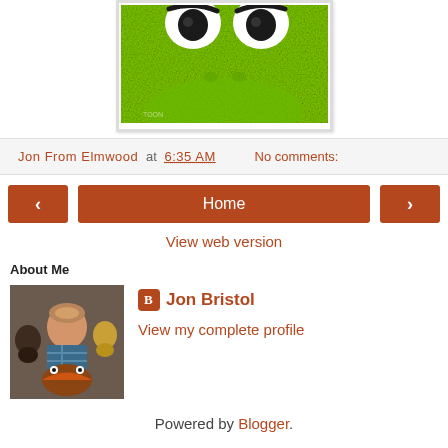[Figure (photo): Close-up photo of Kermit the Frog puppet face showing green textured skin, large white eyes with dark pupils/brows, centered in a white-bordered frame]
Jon From Elmwood at 6:35 AM   No comments:
< Home >
View web version
About Me
[Figure (photo): Photo of a man with puppets/muppet characters]
Jon Bristol
View my complete profile
Powered by Blogger.